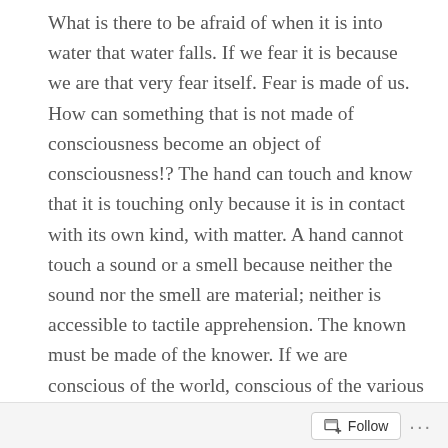What is there to be afraid of when it is into water that water falls. If we fear it is because we are that very fear itself. Fear is made of us. How can something that is not made of consciousness become an object of consciousness!? The hand can touch and know that it is touching only because it is in contact with its own kind, with matter. A hand cannot touch a sound or a smell because neither the sound nor the smell are material; neither is accessible to tactile apprehension. The known must be made of the knower. If we are conscious of the world, conscious of the various modes of cognition, it is because this whole world is of the nature of consciousness.

If a rose is an object of seeing, then seeing is itself an object of...
Follow ···